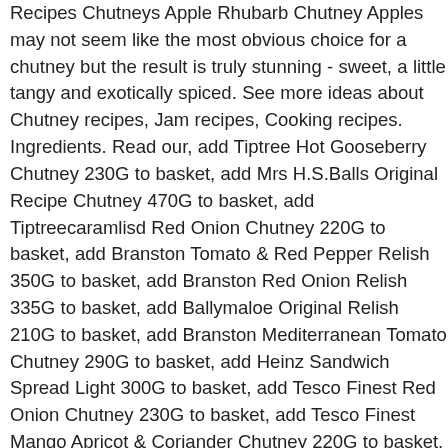Recipes Chutneys Apple Rhubarb Chutney Apples may not seem like the most obvious choice for a chutney but the result is truly stunning - sweet, a little tangy and exotically spiced. See more ideas about Chutney recipes, Jam recipes, Cooking recipes. Ingredients. Read our, add Tiptree Hot Gooseberry Chutney 230G to basket, add Mrs H.S.Balls Original Recipe Chutney 470G to basket, add Tiptreecaramlisd Red Onion Chutney 220G to basket, add Branston Tomato & Red Pepper Relish 350G to basket, add Branston Red Onion Relish 335G to basket, add Ballymaloe Original Relish 210G to basket, add Branston Mediterranean Tomato Chutney 290G to basket, add Heinz Sandwich Spread Light 300G to basket, add Tesco Finest Red Onion Chutney 230G to basket, add Tesco Finest Mango Apricot & Coriander Chutney 220G to basket, add Tesco Finest Sweet Tomato & Birds Eye Chilli Chutney 220G to basket, add Branston Smooth Pickle 370G to basket, add Tesco Finest Chilli Relish 295G to basket, add Baxters Victorian Chutney 270G to basket, add Baxters Caramelised Onion Chutney 290G to basket, add Branston Small Chunk Pickle 360G to basket, add Branston Small Chunk Pickle 720G to basket, add